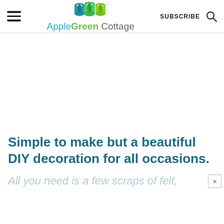AppleGreen Cottage — SUBSCRIBE
[Figure (logo): AppleGreen Cottage logo with thread spools and site name]
Simple to make but a beautiful DIY decoration for all occasions.
All you need is a few scraps of felt,